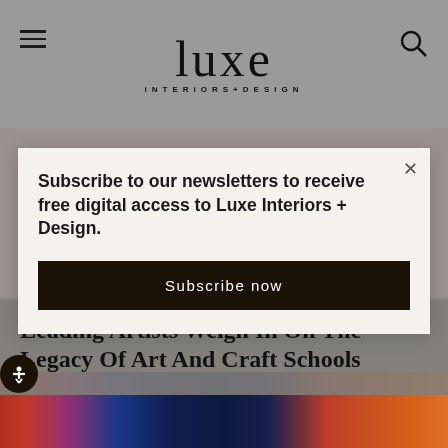luxe INTERIORS+DESIGN
Subscribe to our newsletters to receive free digital access to Luxe Interiors + Design.
Subscribe now
Leading Artists Weigh In On The Legacy Of Art And Craft Schools
[Figure (photo): Bottom strip showing colorful artwork and a person, partially visible]